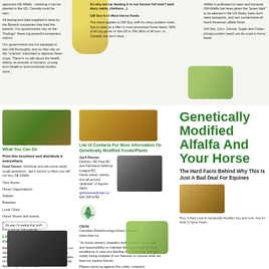approved GE Alfalfa - meaning it can be planted in the US. Canada could be next.
All testing and data supplied is done by the Biotech companies that hold the patents. Our governments rely on the 'findings' these big powerful companies submit.
Our governments are not equipped to test GM thoroughly, and so they rely on the 'science' submitted to approve these crops. There is no talk about the health effects on animals or humans, or long term health or environmental studies done.
So why are we feeding it to our horses full time? (and dairy cattle, chickens...).
GM Soy Is In Most Horse Feeds
The same applies to GM Soy, with its many problem traits. Soy is used as a filler in most processed horse feeds. 93% of all soy grown in the US is GM; 86% of all corn. In Canada, we don't have...
Alfalfa is pollinated by bees and because GM Alfalfa has been given the 'green light' to be planted in the US freely, bees don't need passports, and can contaminate all North American alfalfa fields.
GM Soy, Corn, Canola, Sugar and Cotton (sheep protein meal) can be used in horse feeds.
[Figure (photo): Horse and person in green field]
What You Can Do
Print this brochure and distribute it everywhere.
Feed Stores: distribute and ask some really tough questions - get it across to them you will not buy GE Alfalfa
Tack Stores
Horse Organizations
Stables
Breeders
Local Clubs
Horse Shows and events
Friends
Put it out on the Internet
Learn more about GM feeds and current issues
Below are great links to find good information on GM everything! Do a little research and learn why so many thousands of people from all walks of life are asking tough questions about GM/GE feeds, crops and animals.
http://www.cban.ca
http://gfeeds.wordpress.com/
[Figure (photo): Hay bales]
List of Contacts For More Information On Genetically Modified Foods/Plants
April Reeves
Director, GE Free BC and Farmland Defence League BC
Horse owner, trainer, and all around 'defender' of equine rights
aprildreeves@cban.ca
604 255-6781
[Figure (photo): Person riding horse]
[Figure (logo): CBAN - Canadian Biotechnology Action Network logo]
CBAN
Canadian Biotechnology Action Network
www.cban.ca
"As horse owners, breeders and trainers, it is our job and responsibility to maintain the highest standard of excellence in care and feeding of our animals. We are slowly being stripped of our freedom to choose what we feed our equine friends. Please stand up against this unfair, untested, deregulated crop, and keep the momentum moving within your circle of friends and influence. Together, we all can make a difference, one bale at a time!" April Reeves
Genetically Modified Alfalfa And Your Horse
The Hard Facts Behind Why This Is Just A Bad Deal For Equines
[Figure (photo): Horse feed/grain blocks]
Plus: A Hard Look At Genetically Modified Soy and Corn, And It's Role In Horse Feeds
[Figure (photo): Dark horse with speech bubble saying 'No way I'm eating that stuff...']
[Figure (photo): Green soybeans]